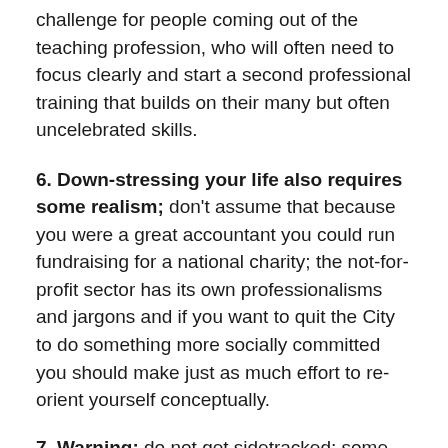challenge for people coming out of the teaching profession, who will often need to focus clearly and start a second professional training that builds on their many but often uncelebrated skills.
6. Down-stressing your life also requires some realism; don't assume that because you were a great accountant you could run fundraising for a national charity; the not-for-profit sector has its own professionalisms and jargons and if you want to quit the City to do something more socially committed you should make just as much effort to re-orient yourself conceptually.
7. Warning: do not get sidetracked; some